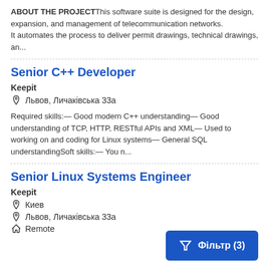ABOUT THE PROJECTThis software suite is designed for the design, expansion, and management of telecommunication networks. It automates the process to deliver permit drawings, technical drawings, an...
Senior C++ Developer
Keepit
Львов, Личаківська 33а
Required skills:— Good modern C++ understanding— Good understanding of TCP, HTTP, RESTful APIs and XML— Used to working on and coding for Linux systems— General SQL understandingSoft skills:— You n...
Senior Linux Systems Engineer
Keepit
Киев
Львов, Личаківська 33а
Remote
Фільтр (3)